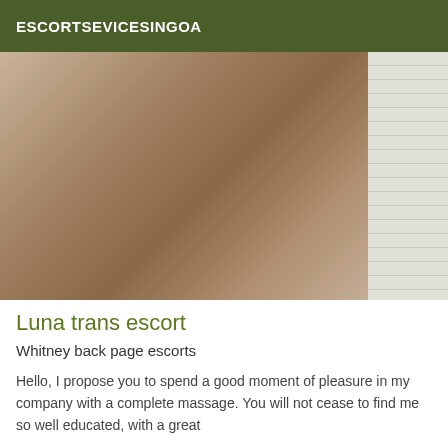ESCORTSEVICESINGOA
[Figure (photo): Close-up photo of a person's lower body/hips area against a tiled shower background]
Luna trans escort
Whitney back page escorts
Hello, I propose you to spend a good moment of pleasure in my company with a complete massage. You will not cease to find me so well educated, with a great